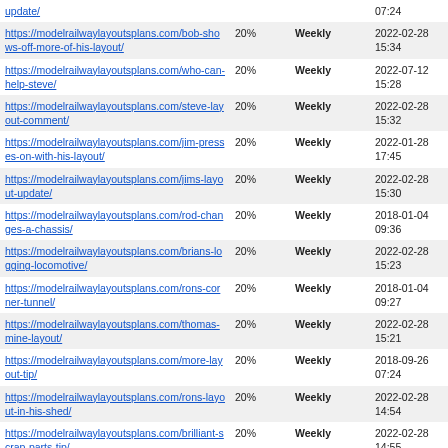| URL | Priority | Frequency | Last Modified |
| --- | --- | --- | --- |
| https://modelrailwaylayoutsplans.com/...update/ | 20% | Weekly | 07:24 |
| https://modelrailwaylayoutsplans.com/bob-shows-off-more-of-his-layout/ | 20% | Weekly | 2022-02-28 15:34 |
| https://modelrailwaylayoutsplans.com/who-can-help-steve/ | 20% | Weekly | 2022-07-12 15:28 |
| https://modelrailwaylayoutsplans.com/steve-layout-comment/ | 20% | Weekly | 2022-02-28 15:32 |
| https://modelrailwaylayoutsplans.com/jim-presses-on-with-his-layout/ | 20% | Weekly | 2022-01-28 17:45 |
| https://modelrailwaylayoutsplans.com/jims-layout-update/ | 20% | Weekly | 2022-02-28 15:30 |
| https://modelrailwaylayoutsplans.com/rod-changes-a-chassis/ | 20% | Weekly | 2018-01-04 09:36 |
| https://modelrailwaylayoutsplans.com/brians-logging-locomotive/ | 20% | Weekly | 2022-02-28 15:23 |
| https://modelrailwaylayoutsplans.com/rons-corner-tunnel/ | 20% | Weekly | 2018-01-04 09:27 |
| https://modelrailwaylayoutsplans.com/thomas-mine-layout/ | 20% | Weekly | 2022-02-28 15:21 |
| https://modelrailwaylayoutsplans.com/more-layout-tip/ | 20% | Weekly | 2018-09-26 07:24 |
| https://modelrailwaylayoutsplans.com/rons-layout-in-his-shed/ | 20% | Weekly | 2022-02-28 14:54 |
| https://modelrailwaylayoutsplans.com/brilliant-scrap-parts-tip/ | 20% | Weekly | 2022-02-28 14:55 |
| https://modelrailwaylayoutsplans.com/dicks-o-gauge/ | 20% | Weekly | 2022-02-28 14:45 |
| https://modelrailwaylayoutsplans.com/toms-layout-2/ | 20% | Weekly | 2022-03-20 17:22 |
| https://modelrailwaylayoutsplans.com/toms-layout/ | 20% | Weekly | 2022-02-28 14:42 |
| https://modelrailwaylayoutsplans.com/trevor-... | 20% | Weekly | 2014-06-08 ... |